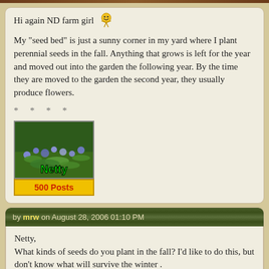Hi again ND farm girl [smiley emoji]
My "seed bed" is just a sunny corner in my yard where I plant perennial seeds in the fall. Anything that grows is left for the year and moved out into the garden the following year. By the time they are moved to the garden the second year, they usually produce flowers.
* * * *
[Figure (photo): Avatar image showing a garden with flowers and text 'Netty' in green, with a '500 Posts' yellow badge below]
by mrw on August 28, 2006 01:10 PM
Netty,
What kinds of seeds do you plant in the fall? I'd like to do this, but don't know what will survive the winter .